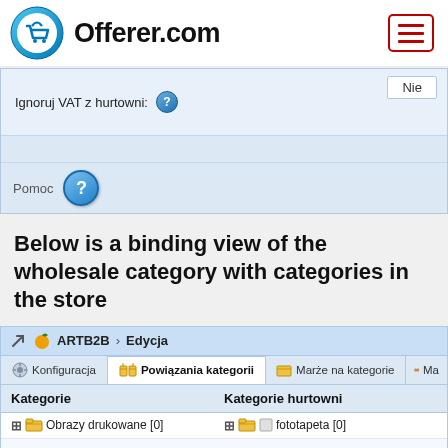[Figure (logo): Offerer.com logo with shopping cart icon and hamburger menu button]
[Figure (screenshot): Form row showing 'Ignoruj VAT z hurtowni' label with help icon and 'Nie' value, followed by empty row and Pomoc help row]
Below is a binding view of the wholesale category with categories in the store
[Figure (screenshot): App panel showing ARTB2B > Edycja breadcrumb, tabs (Konfiguracja, Powiązania kategorii, Marże na kategorie, Ma...), table header with Kategorie and Kategorie hurtowni columns, and tree rows for Obrazy drukowane [0] mapped to fototapeta [0]]